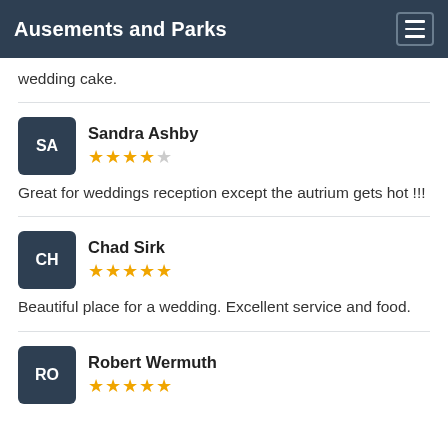Ausements and Parks
wedding cake.
Sandra Ashby
★★★★☆
Great for weddings reception except the autrium gets hot !!!
Chad Sirk
★★★★★
Beautiful place for a wedding. Excellent service and food.
Robert Wermuth
★★★★★